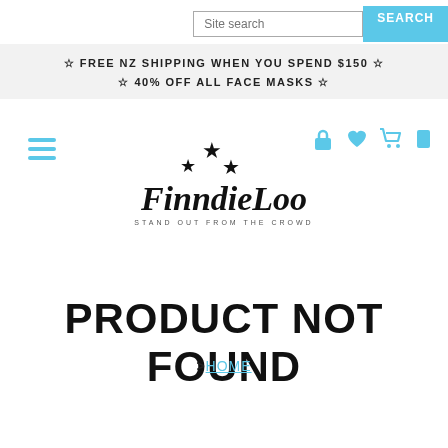Site search | SEARCH
☆ FREE NZ SHIPPING WHEN YOU SPEND $150 ☆
☆ 40% OFF ALL FACE MASKS ☆
[Figure (logo): FinndieLoo logo with three stars above the brand name in script font, tagline STAND OUT FROM THE CROWD]
PRODUCT NOT FOUND
>HOME